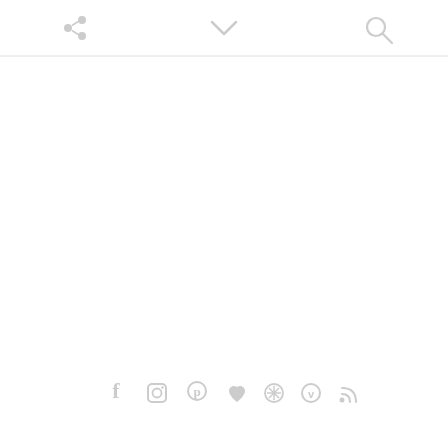[Figure (screenshot): Website navigation bar with share icon on left, chevron/dropdown in center, and search icon on right. Bottom of page shows social media icons: Facebook, Instagram, Pinterest, heart/Bloglovin, Yelp/wheel, Vimeo, RSS feed.]